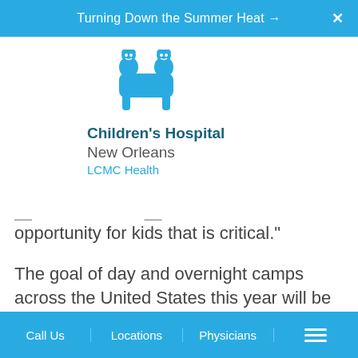Turning Down the Summer Heat →  ✕
[Figure (logo): Children's Hospital New Orleans LCMC Health logo — two cartoon children figures in teal above the text]
opportunity for kids that is critical."
The goal of day and overnight camps across the United States this year will be to restore some normalcy to the lives of children who saw their lives upturned by COVID-19, said Tom D...
Call Us  |  Locations  |  Physicians  |  ☰